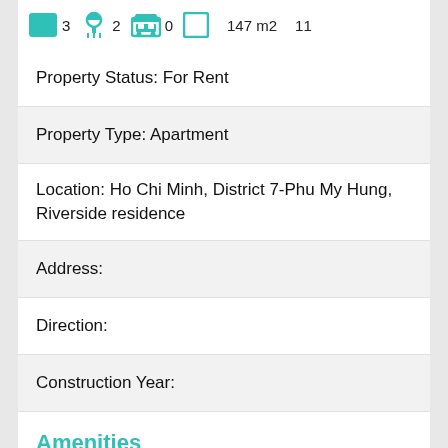[Figure (infographic): Icon bar showing property features: 3 bedrooms (green square icon), 2 bathrooms (shower icon), 0 garages (garage icon), blank (window/door icon), 147 m2 area, 11 (floors or similar)]
Property Status:  For Rent
Property Type:  Apartment
Location:  Ho Chi Minh, District 7-Phu My Hung, Riverside residence
Address:
Direction:
Construction Year:
Amenities
Balcony